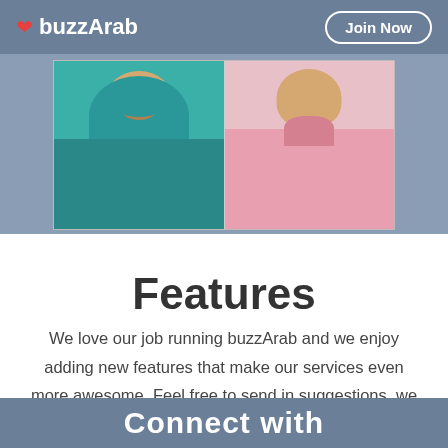buzzArab | Join Now
[Figure (photo): Two profile photos side by side: a woman wearing a teal hijab on the left, and a person in a pink shirt on the right, set against a blue-grey background]
Features
We love our job running buzzArab and we enjoy adding new features that make our services even more awesome. Feel free to send in suggestions, we reply to each and every one of them!
Connect with